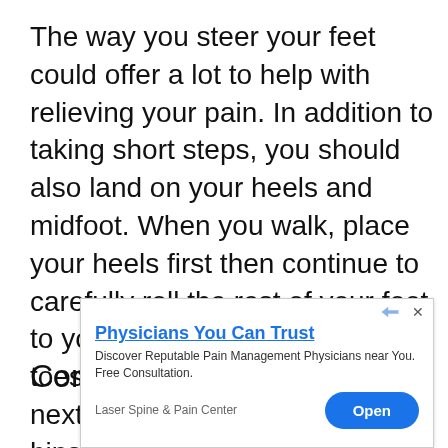The way you steer your feet could offer a lot to help with relieving your pain. In addition to taking short steps, you should also land on your heels and midfoot. When you walk, place your heels first then continue to carefully roll the rest of your foot to your toes. Push with your toes forward as you take the next stride to minimize using the hips.
Consider Getting Some Help
[Figure (other): Advertisement banner: Physicians You Can Trust - Discover Reputable Pain Management Physicians near You. Free Consultation. Laser Spine & Pain Center. Open button.]